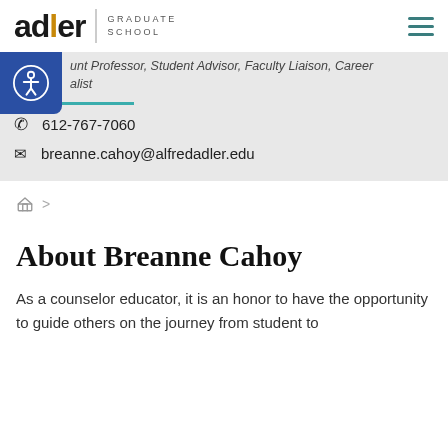adler GRADUATE SCHOOL
Adjunct Professor, Student Advisor, Faculty Liaison, Career Specialist
612-767-7060
breanne.cahoy@alfredadler.edu
Home >
About Breanne Cahoy
As a counselor educator, it is an honor to have the opportunity to guide others on the journey from student to